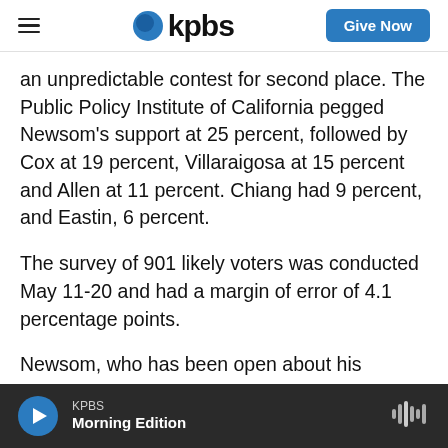KPBS — Give Now (navigation bar)
an unpredictable contest for second place. The Public Policy Institute of California pegged Newsom's support at 25 percent, followed by Cox at 19 percent, Villaraigosa at 15 percent and Allen at 11 percent. Chiang had 9 percent, and Eastin, 6 percent.
The survey of 901 likely voters was conducted May 11-20 and had a margin of error of 4.1 percentage points.
Newsom, who has been open about his preference to face a Republican in November, is taking heat
KPBS  Morning Edition